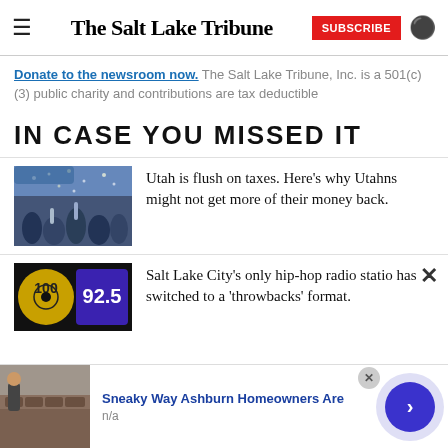The Salt Lake Tribune
Donate to the newsroom now. The Salt Lake Tribune, Inc. is a 501(c)(3) public charity and contributions are tax deductible
IN CASE YOU MISSED IT
[Figure (photo): People celebrating at an outdoor event with confetti]
Utah is flush on taxes. Here’s why Utahns might not get more of their money back.
[Figure (logo): Radio station logos: 100 and 92.5]
Salt Lake City’s only hip-hop radio station has switched to a ‘throwbacks’ format.
[Figure (photo): Advertisement: Sneaky Way Ashburn Homeowners Are, n/a]